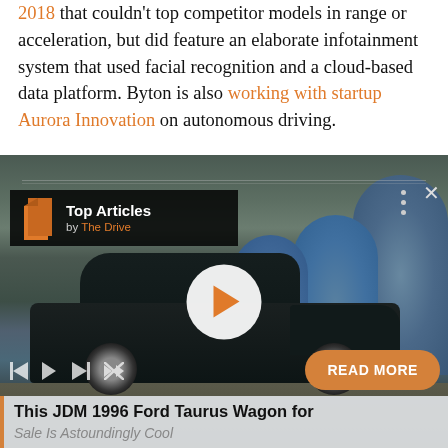2018 that couldn't top competitor models in range or acceleration, but did feature an elaborate infotainment system that used facial recognition and a cloud-based data platform. Byton is also working with startup Aurora Innovation on autonomous driving.
[Figure (screenshot): Video player screenshot showing a dark-colored Ford Taurus station wagon parked in an industrial setting with blue silos/tanks in the background. Overlay shows 'Top Articles by The Drive' branding, a white play button in the center, media controls at the bottom left, a 'READ MORE' orange pill button at bottom right, and a caption strip at bottom reading 'This JDM 1996 Ford Taurus Wagon for Sale Is Astoundingly Cool'.]